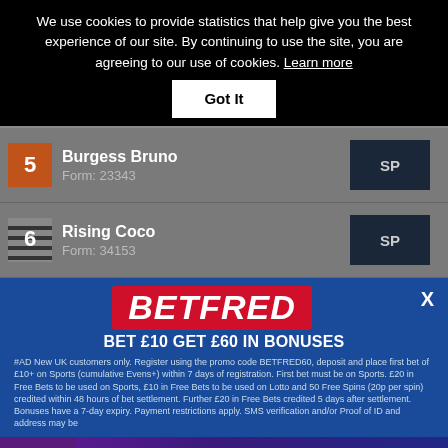We use cookies to provide statistics that help give you the best experience of our site. By continuing to use the site, you are agreeing to our use of cookies. Learn more
Got It
| 5 | Burgess Bruno
Form: 23343 | SP |
| 6 | Rising Coco
Form: 34153 | SP |
[Figure (logo): BETFRED logo in red and white on blue background with X close button]
BET £10 GET £60 IN BONUSES
#AD New UK customers only. Register using the promo code BETFRED60, deposit and place first bet of £10+ on Sports (cumulative Evens+) within 7 days of registration. First bet must be on Sports. £20 in Free Bets to be used on Sports, £10 in Free Bets to be used on Lotto and 50 Free Spins (20p per spin) credited within 48 hours of bet settlement. Further £20 in Free Bets credited 5 days after settlement. Bonuses have a 7-day expiry. Payment restrictions apply. SMS verification and/or Proof of ID and address may be
[Figure (advertisement): Betfred bottom banner: GET £60 IN BONUSES WHEN YOU STAKE £10 with dog racing image and Claim Here button]